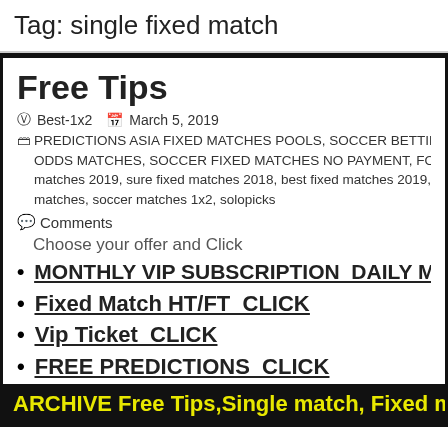Tag: single fixed match
Free Tips
Best-1x2  March 5, 2019
PREDICTIONS ASIA FIXED MATCHES POOLS, SOCCER BETTING P ODDS MATCHES, SOCCER FIXED MATCHES NO PAYMENT, FOOTBAL matches 2019, sure fixed matches 2018, best fixed matches 2019, best fix matches, soccer matches 1x2, solopicks
Comments
Choose your offer and Click
MONTHLY VIP SUBSCRIPTION  DAILY MATC
Fixed Match HT/FT CLICK
Vip Ticket CLICK
FREE PREDICTIONS  CLICK
ARCHIVE Free Tips,Single match, Fixed ma